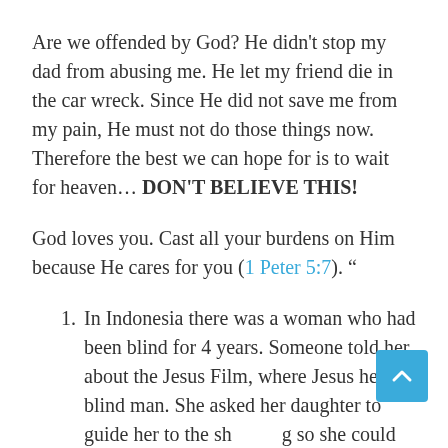Are we offended by God? He didn't stop my dad from abusing me. He let my friend die in the car wreck. Since He did not save me from my pain, He must not do those things now. Therefore the best we can hope for is to wait for heaven… DON'T BELIEVE THIS!
God loves you. Cast all your burdens on Him because He cares for you (1 Peter 5:7). “
In Indonesia there was a woman who had been blind for 4 years. Someone told her about the Jesus Film, where Jesus heals a blind man. She asked her daughter to guide her to the sh[owing] so she could hear the story. When the scene